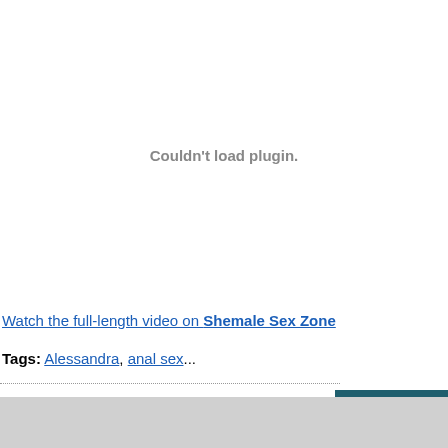[Figure (screenshot): Embedded video plugin area showing 'Couldn't load plugin.' error message in gray text on white background]
Watch the full-length video on Shemale Sex Zone
Tags: Alessandra, anal sex...
[Figure (screenshot): Live chat overlay bar showing 'Goddess_Aphrodite's LIVE CHAT' with mute and close icons on dark teal background]
[Figure (screenshot): Bottom gray bar with a small icon]